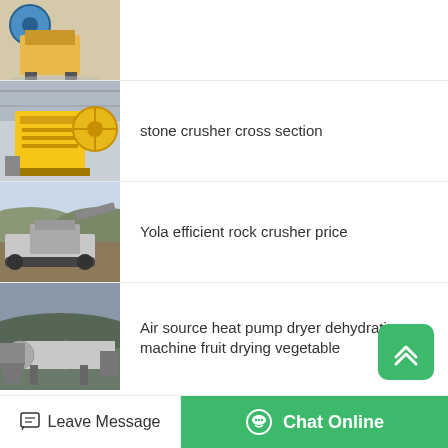[Figure (photo): Industrial jaw crusher machine, partial view at top of page]
stone crusher cross section
[Figure (photo): Yellow jaw crusher machine in industrial warehouse]
Yola efficient rock crusher price
[Figure (photo): Mobile rock crushing equipment operating on a hillside]
Air source heat pump dryer dehydrating machine fruit drying vegetable
[Figure (photo): Industrial dryer/rotary drum machine outdoors]
wi produções
[Figure (photo): Partial view of yellow industrial machinery, bottom of page]